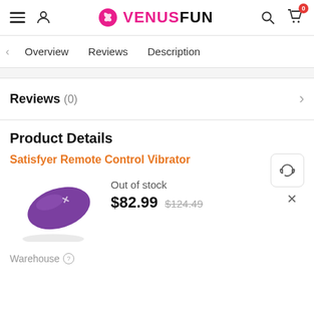VenusFun — hamburger, user, search, cart (0)
< Overview   Reviews   Description
Reviews (0) >
Product Details
Satisfyer Remote Control Vibrator
[Figure (photo): Purple Satisfyer Remote Control Vibrator device on white background]
Out of stock
$82.99  $124.49
Warehouse ?